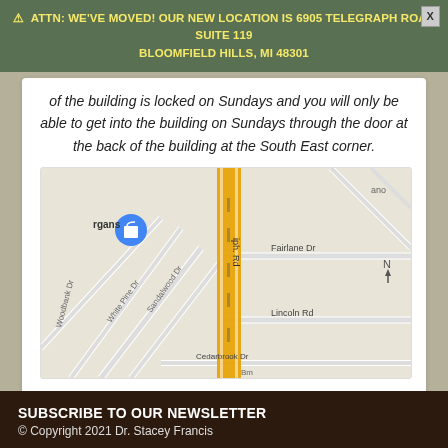⚠ ATTN: WE'VE MOVED! OUR NEW LOCATION IS 6905 TELEGRAPH ROAD SUITE 119 BLOOMFIELD HILLS, MI 48301
of the building is locked on Sundays and you will only be able to get into the building on Sundays through the door at the back of the building at the South East corner.
[Figure (map): Google Maps showing Telegraph Road area with Fairlane Dr, Lincoln Rd, Cedarbrook Dr, Sandalwood Dr, White Pine Dr, Woodbank Dr labeled. A highlighted route runs along Telegraph Rd (shown in yellow/orange). Blue location pin labeled 'rgans' visible on left side.]
SUBSCRIBE TO OUR NEWSLETTER
© Copyright 2021 Dr. Stacey Francis